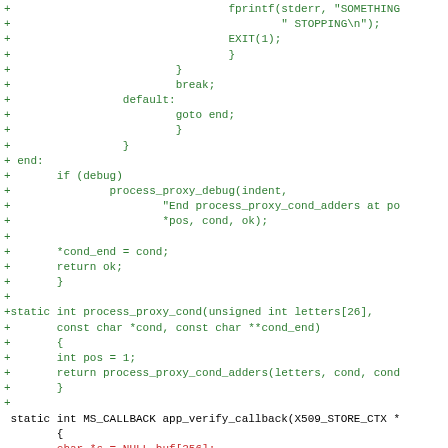[Figure (screenshot): Source code diff showing C code changes. Green lines with + prefix are additions, red lines with - prefix are deletions, and lines with a space prefix are context. The code shows functions process_proxy_cond_adders, process_proxy_cond, and the beginning of app_verify_callback.]